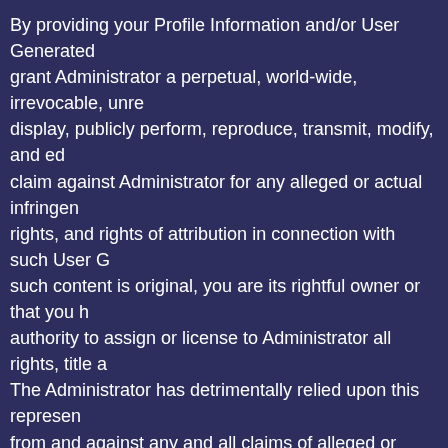By providing your Profile Information and/or User Generated grant Administrator a perpetual, world-wide, irrevocable, unre display, publicly perform, reproduce, transmit, modify, and ed claim against Administrator for any alleged or actual infringen rights, and rights of attribution in connection with such User G such content is original, you are its rightful owner or that you authority to assign or license to Administrator all rights, title a The Administrator has detrimentally relied upon this represen from and against any and all claims of alleged or actual infrin moral rights, and rights of attribution raised by third parties ag
You agree to release Administrator, its parents, partners, cont shareholders, from any and all liability and obligations whatso time you are not happy with the Website or the Services or ob
Limitation of Use.  You agree that you will neither post User
is unlawful, threatening, obscene, vulgar, pornographic, pr would constitute) a criminal offense, gives rise to civil liability
violates the copyright, trademark or other intellectual prop
is false, inaccurate or misleading or improperly assumes o
imposes an unreasonable or disproportionately large load
is for the purpose of spamming or  for aggressively promo
is fraudulent or involves the distribution or sale of illegal